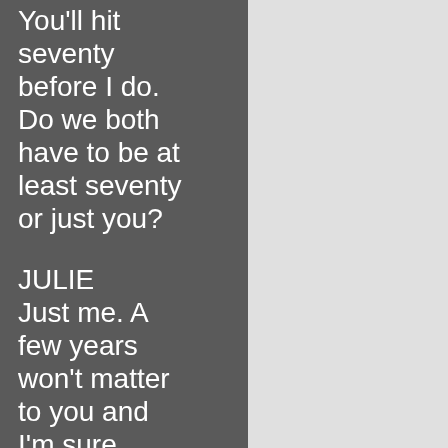You'll hit seventy before I do. Do we both have to be at least seventy or just you?
JULIE Just me. A few years won't matter to you and I'm sure you'll be happy to